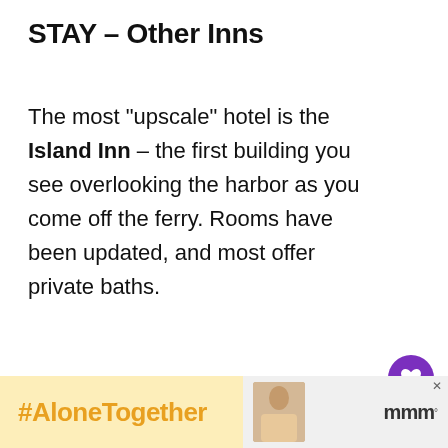STAY – Other Inns
The most “upscale” hotel is the Island Inn – the first building you see overlooking the harbor as you come off the ferry. Rooms have been updated, and most offer private baths.
[Figure (other): Heart/like button (purple circle with heart icon), like count showing 539, and share button below]
[Figure (other): What's Next navigation panel with circular thumbnail image of landscape and text: WHAT'S NEXT → Waterville ME: Art and...]
[Figure (other): Advertisement banner with orange #AloneTogether hashtag on yellow background, person photo, close button, and Meredith logo]